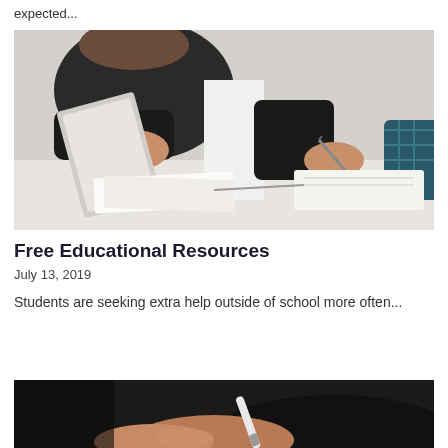expected...
[Figure (photo): Close-up of people sitting at a table; one person holds a tablet and papers, another writes with a pen on a notebook.]
Free Educational Resources
July 13, 2019
Students are seeking extra help outside of school more often...
[Figure (photo): Partial view of a person writing with a pen, dark background, lower portion of page.]